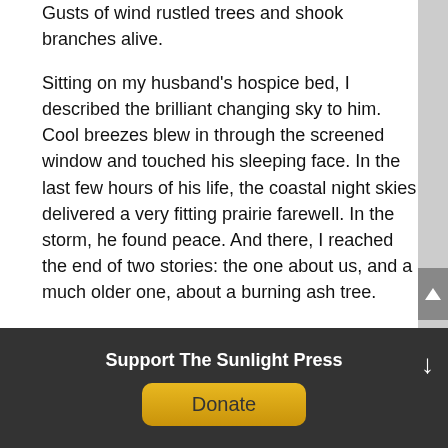Gusts of wind rustled trees and shook branches alive.
Sitting on my husband’s hospice bed, I described the brilliant changing sky to him. Cool breezes blew in through the screened window and touched his sleeping face. In the last few hours of his life, the coastal night skies delivered a very fitting prairie farewell. In the storm, he found peace. And there, I reached the end of two stories: the one about us, and a much older one, about a burning ash tree.
Lightning finally found and split my life; it sheared it down the middle.
In my smoldering half-life, I drove myself home and wandered through the back gate. The garden had
Support The Sunlight Press